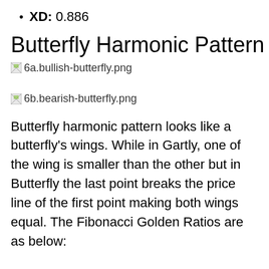XD: 0.886
Butterfly Harmonic Pattern
[Figure (illustration): Placeholder for 6a.bullish-butterfly.png]
[Figure (illustration): Placeholder for 6b.bearish-butterfly.png]
Butterfly harmonic pattern looks like a butterfly's wings. While in Gartly, one of the wing is smaller than the other but in Butterfly the last point breaks the price line of the first point making both wings equal. The Fibonacci Golden Ratios are as below: